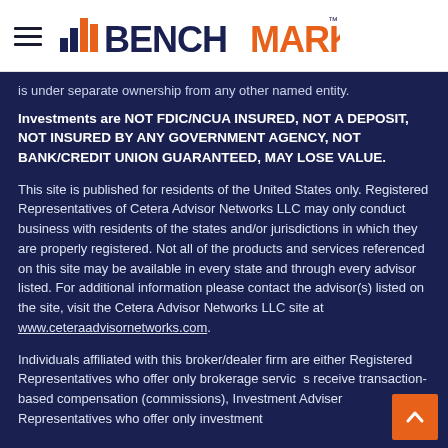BENCHMARK (logo with hamburger menu)
is under separate ownership from any other named entity.
Investments are NOT FDIC/NCUA INSURED, NOT A DEPOSIT, NOT INSURED BY ANY GOVERNMENT AGENCY, NOT BANK/CREDIT UNION GUARANTEED, MAY LOSE VALUE.
This site is published for residents of the United States only. Registered Representatives of Cetera Advisor Networks LLC may only conduct business with residents of the states and/or jurisdictions in which they are properly registered. Not all of the products and services referenced on this site may be available in every state and through every advisor listed. For additional information please contact the advisor(s) listed on the site, visit the Cetera Advisor Networks LLC site at www.ceteraadvisornetworks.com.
Individuals affiliated with this broker/dealer firm are either Registered Representatives who offer only brokerage services and receive transaction-based compensation (commissions), Investment Adviser Representatives who offer only investment